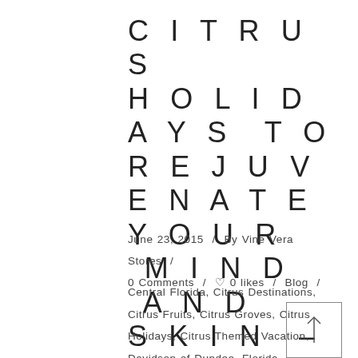CITRUS HOLIDAYS TO REJUVENATE YOUR MIND AND SKIN – VINE VERA REVIEWS
June 23, 2015 / By Vine Vera Stores / 0 Comments / ♡ 0 likes / Blog /
Central Florida, Citrus Destinations, Citrus Fruits, Citrus Groves, Citrus Holidays, Citrus Themed Vacation, Davidson of Dundee, Florida, Florida's Natural Growers Grove House, Orange Groves, Oranges, Polk County, Ridge Island Groves, Spend Time with